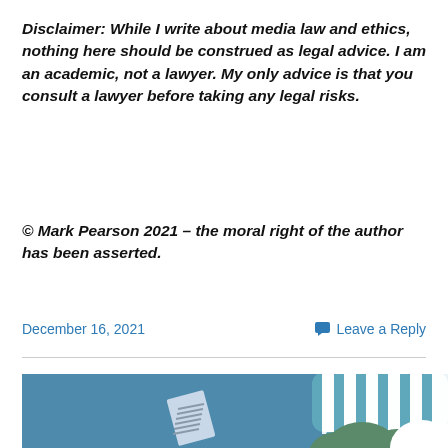Disclaimer: While I write about media law and ethics, nothing here should be construed as legal advice. I am an academic, not a lawyer. My only advice is that you consult a lawyer before taking any legal risks.
© Mark Pearson 2021 – the moral right of the author has been asserted.
December 16, 2021
Leave a Reply
[Figure (illustration): Decorative illustration showing a blue background with a striped speech bubble in teal and white on the right, a document/paper icon in the center, and green cloud-like shapes at the bottom right.]